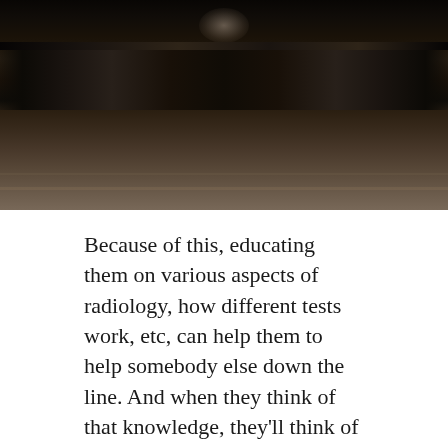[Figure (photo): Dark moody photograph of a person (likely a dancer or gymnast) performing a floor split on a wooden surface, arms spread wide, viewed from a low angle with dramatic dark lighting]
Because of this, educating them on various aspects of radiology, how different tests work, etc, can help them to help somebody else down the line. And when they think of that knowledge, they'll think of who they learned it from.
Lastly, you can also send an automatic educational email when appointments are booked. These emails include links to articles or videos which explain the procedure which the appointment was just booked for. This can provide value and comfort to the patient, who is now not only better prepared for their visit, but also